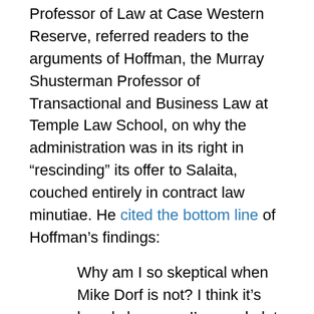Professor of Law at Case Western Reserve, referred readers to the arguments of Hoffman, the Murray Shusterman Professor of Transactional and Business Law at Temple Law School, on why the administration was in its right in “rescinding” its offer to Salaita, couched entirely in contract law minutiae. He cited the bottom line of Hoffman’s findings:
Why am I so skeptical when Mike Dorf is not? I think it’s largely because I’ve read alot of promissory estoppel cases, and a lot of promissory estoppel articles. And the consensus is that over the last generation, promissory estoppel has waned as a theory of recovery. As Bob Hillman famously concluded, it’s a “remarkably unsuccessful” cause of action, which, in my experience, is brought largely in weak cases as a last-ditch shot to push through to